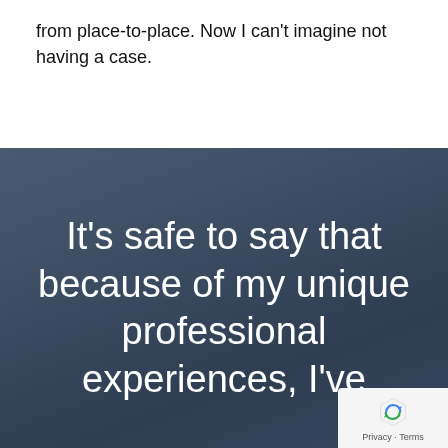from place-to-place. Now I can't imagine not having a case.
It's safe to say that because of my unique professional experiences, I've